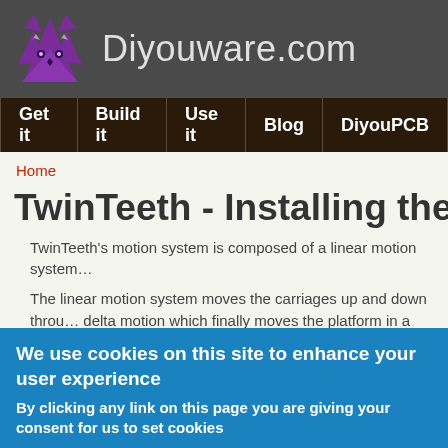Diyouware.com
Get it | Build it | Use it | Blog | DiyouPCB
Home
TwinTeeth - Installing the Motion System
TwinTeeth's motion system is composed of a linear motion system...
The linear motion system moves the carriages up and down through delta motion which finally moves the platform in a Cartesian 3D sp...
Now we are going to install the linear motion system.
We use cookies on this site to enhance your user experience
By clicking any link on this page you are giving your consent for us to set cookies